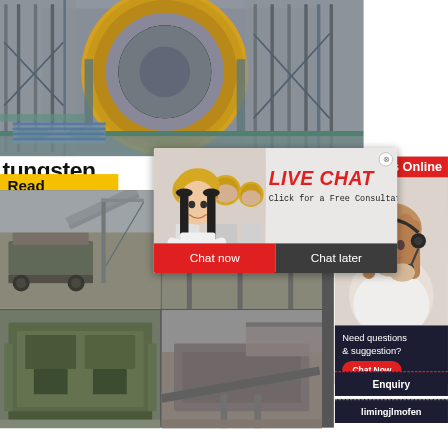[Figure (photo): Industrial machinery / mill equipment — large yellow rotating drum/ball mill in a mining or processing plant, steel framework and piping]
tungsten
Read
[Figure (infographic): Live Chat popup overlay showing three workers in yellow hard hats, woman in foreground; text reads LIVE CHAT, Click for a Free Consultation, with Chat now and Chat later buttons]
24Hrs Online
[Figure (photo): Customer service woman with headset and microphone, smiling]
Need questions & suggestion?
Chat Now
Enquiry
limingjlmofen
[Figure (photo): Four industrial equipment photos in a 2x2 grid: conveyor systems, mining/crushing equipment in outdoor industrial settings]